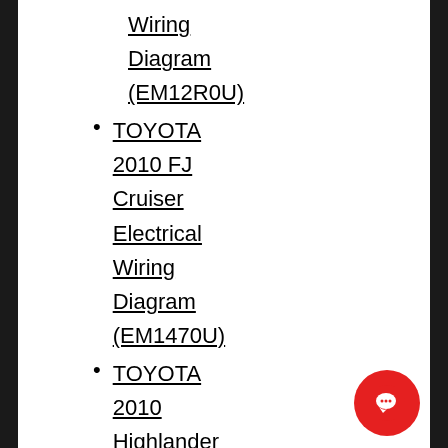Wiring Diagram (EM12R0U)
TOYOTA 2010 FJ Cruiser Electrical Wiring Diagram (EM1470U)
TOYOTA 2010 Highlander Electrical Wiring Diagram (EM1410U)